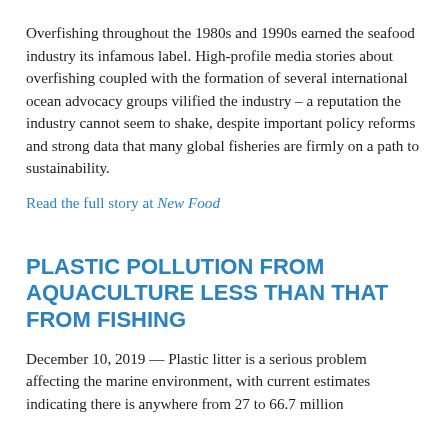Overfishing throughout the 1980s and 1990s earned the seafood industry its infamous label. High-profile media stories about overfishing coupled with the formation of several international ocean advocacy groups vilified the industry – a reputation the industry cannot seem to shake, despite important policy reforms and strong data that many global fisheries are firmly on a path to sustainability.
Read the full story at New Food
PLASTIC POLLUTION FROM AQUACULTURE LESS THAN THAT FROM FISHING
December 10, 2019 — Plastic litter is a serious problem affecting the marine environment, with current estimates indicating there is anywhere from 27 to 66.7 million